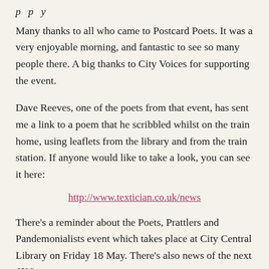p p y
Many thanks to all who came to Postcard Poets. It was a very enjoyable morning, and fantastic to see so many people there. A big thanks to City Voices for supporting the event.
Dave Reeves, one of the poets from that event, has sent me a link to a poem that he scribbled whilst on the train home, using leaflets from the library and from the train station. If anyone would like to take a look, you can see it here:
http://www.textician.co.uk/news
There's a reminder about the Poets, Prattlers and Pandemonialists event which takes place at City Central Library on Friday 18 May. There's also news of the next 6X6